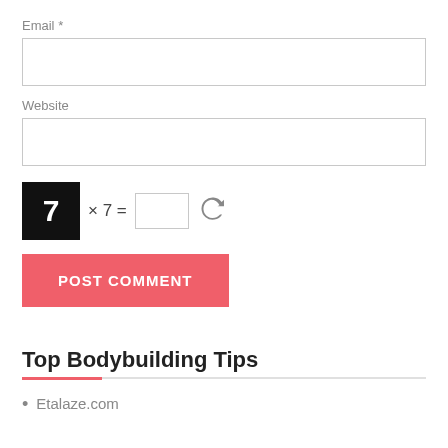Email *
Website
[Figure (other): CAPTCHA math widget: black box with number 7, then '× 7 =' text, then an input box, then a refresh/cycle icon]
POST COMMENT
Top Bodybuilding Tips
Etalaze.com